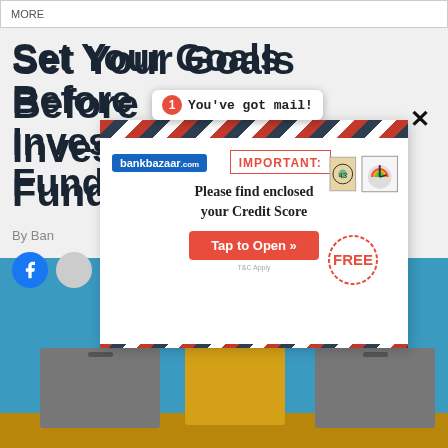MORE
Set Your Goals Before Investing in Mutual Funds
By Ban...
[Figure (infographic): Mail notification popup with badge showing '1' and text 'You've got mail!' in a tooltip bubble]
[Figure (infographic): Envelope advertisement from bankbazaar.com showing 'IMPORTANT: Please find enclosed your Credit Score' with FREE stamp and 'Tap to Open' red button. Diagonal red and white striped border pattern.]
[Figure (infographic): Illustration showing three boxes (grey, yellow, grey) with a frying pan on top of the yellow middle box, on a brown surface with a blue background sky]